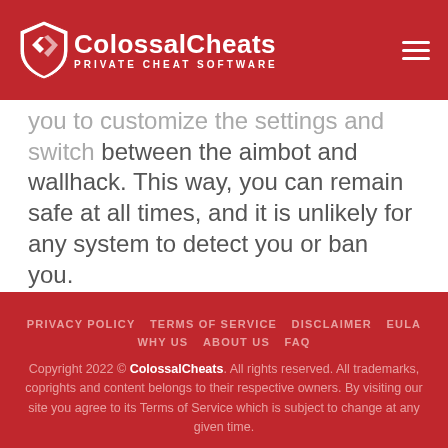ColossalCheats — PRIVATE CHEAT SOFTWARE
you to customize the settings and switch between the aimbot and wallhack. This way, you can remain safe at all times, and it is unlikely for any system to detect you or ban you.
PRIVACY POLICY  TERMS OF SERVICE  DISCLAIMER  EULA  WHY US  ABOUT US  FAQ

Copyright 2022 © ColossalCheats. All rights reserved. All trademarks, coprights and content belongs to their respective owners. By visiting our site you agree to its Terms of Service which is subject to change at any given time.